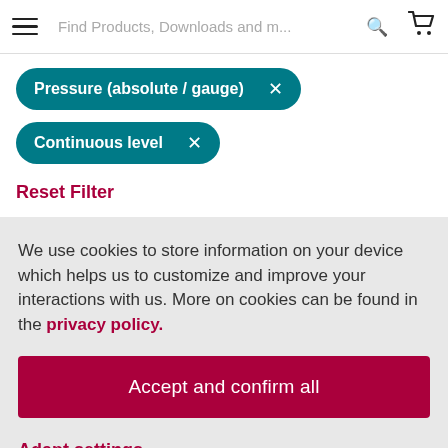Find Products, Downloads and m...
Pressure (absolute / gauge) ×
Continuous level ×
Reset Filter
We use cookies to store information on your device which helps us to customize and improve your interactions with us. More on cookies can be found in the privacy policy.
Accept and confirm all
Adapt settings